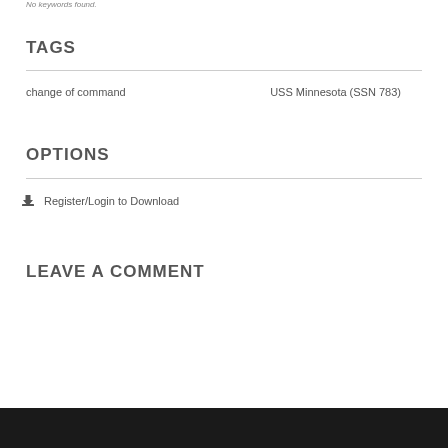No keywords found.
TAGS
change of command	USS Minnesota (SSN 783)
OPTIONS
Register/Login to Download
LEAVE A COMMENT